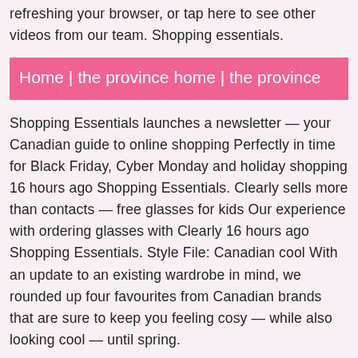refreshing your browser, or tap here to see other videos from our team. Shopping essentials.
Home | the province home | the province
Shopping Essentials launches a newsletter — your Canadian guide to online shopping Perfectly in time for Black Friday, Cyber Monday and holiday shopping 16 hours ago Shopping Essentials. Clearly sells more than contacts — free glasses for kids Our experience with ordering glasses with Clearly 16 hours ago Shopping Essentials. Style File: Canadian cool With an update to an existing wardrobe in mind, we rounded up four favourites from Canadian brands that are sure to keep you feeling cosy — while also looking cool — until spring.